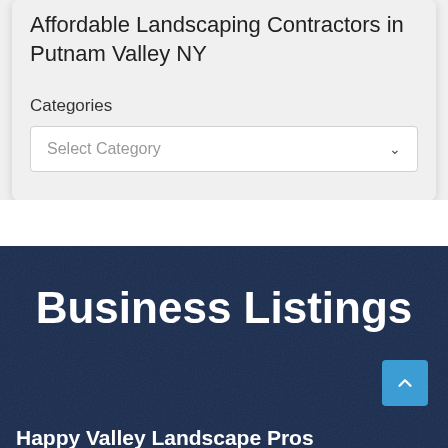Affordable Landscaping Contractors in Putnam Valley NY
Categories
Select Category
Business Listings
Happy Valley Landscape Pros